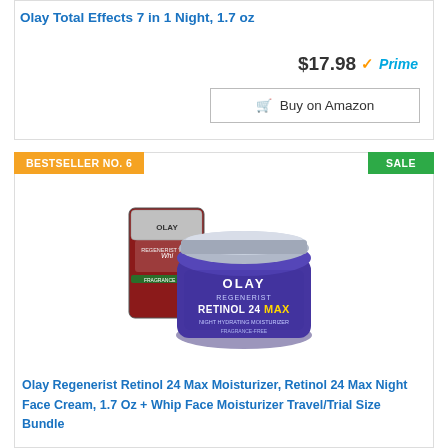Olay Total Effects 7 in 1 Night, 1.7 oz
$17.98 ✓Prime
🛒 Buy on Amazon
BESTSELLER NO. 6
SALE
[Figure (photo): Olay Regenerist Retinol 24 Max Night Hydrating Moisturizer jar (blue/purple) with Whip travel size packet behind it]
Olay Regenerist Retinol 24 Max Moisturizer, Retinol 24 Max Night Face Cream, 1.7 Oz + Whip Face Moisturizer Travel/Trial Size Bundle